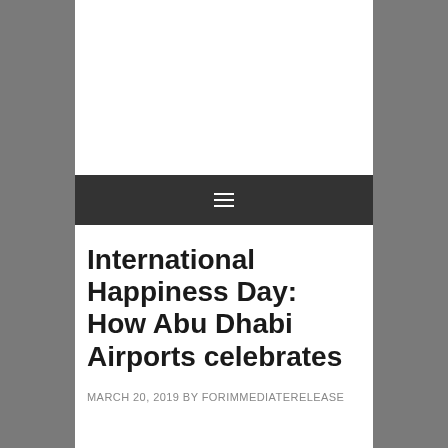[Figure (photo): Background cityscape photo in grayscale showing an urban skyline, framing a white content card in the center]
≡
International Happiness Day: How Abu Dhabi Airports celebrates
MARCH 20, 2019 BY FORIMMEDIATERELEASE